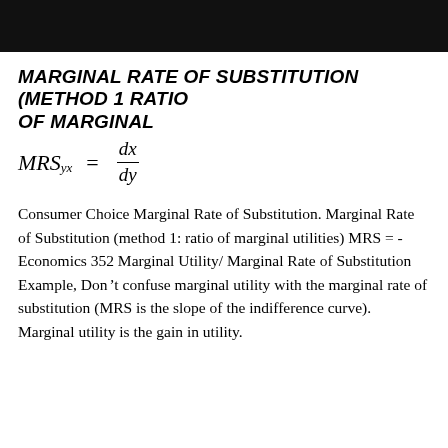MARGINAL RATE OF SUBSTITUTION (METHOD 1 RATIO OF MARGINAL
Consumer Choice Marginal Rate of Substitution. Marginal Rate of Substitution (method 1: ratio of marginal utilities) MRS = - Economics 352 Marginal Utility/ Marginal Rate of Substitution Example, Don’t confuse marginal utility with the marginal rate of substitution (MRS is the slope of the indifference curve). Marginal utility is the gain in utility.